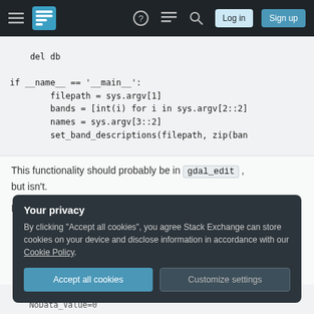Stack Exchange navigation bar with hamburger, logo, help, chat, search icons, Log in and Sign up buttons
del db

if __name__ == '__main__':
    filepath = sys.argv[1]
    bands = [int(i) for i in sys.argv[2::2]
    names = sys.argv[3::2]
    set_band_descriptions(filepath, zip(ban
This functionality should probably be in gdal_edit , but isn't.
For example:
Your privacy
By clicking "Accept all cookies", you agree Stack Exchange can store cookies on your device and disclose information in accordance with our Cookie Policy.
Accept all cookies   Customize settings
min 17000 max 17000
NoData_Value=0